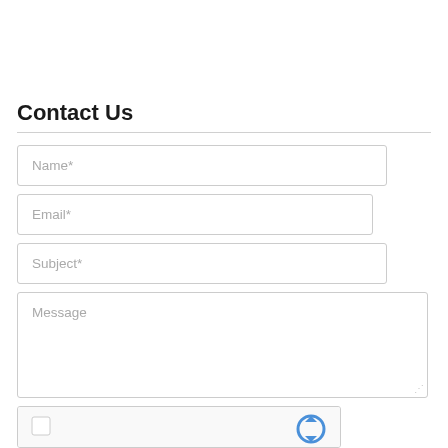Contact Us
[Figure (screenshot): Contact form with fields: Name*, Email*, Subject*, Message, and a reCAPTCHA verification widget at the bottom]